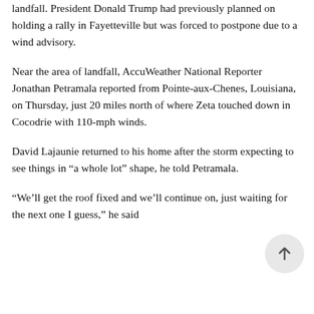landfall. President Donald Trump had previously planned on holding a rally in Fayetteville but was forced to postpone due to a wind advisory.
Near the area of landfall, AccuWeather National Reporter Jonathan Petramala reported from Pointe-aux-Chenes, Louisiana, on Thursday, just 20 miles north of where Zeta touched down in Cocodrie with 110-mph winds.
David Lajaunie returned to his home after the storm expecting to see things in “a whole lot” shape, he told Petramala.
“We’ll get the roof fixed and we’ll continue on, just waiting for the next one I guess,” he said